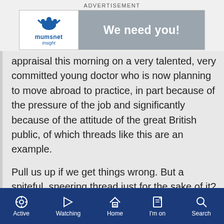ADVERTISEMENT
[Figure (logo): Mumsnet Insight logo and 'We need you!' advertisement banner]
appraisal this morning on a very talented, very committed young doctor who is now planning to move abroad to practice, in part because of the pressure of the job and significantly because of the attitude of the great British public, of which threads like this are an example.
Pull us up if we get things wrong. But a spiteful, sneering thread just for the sake of it? Give us a break.
Active  Watching  Home  I'm on  Search